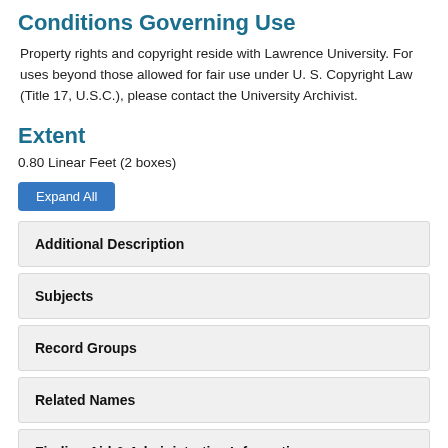Conditions Governing Use
Property rights and copyright reside with Lawrence University. For uses beyond those allowed for fair use under U. S. Copyright Law (Title 17, U.S.C.), please contact the University Archivist.
Extent
0.80 Linear Feet (2 boxes)
Expand All
Additional Description
Subjects
Record Groups
Related Names
Finding Aid & Administrative Information